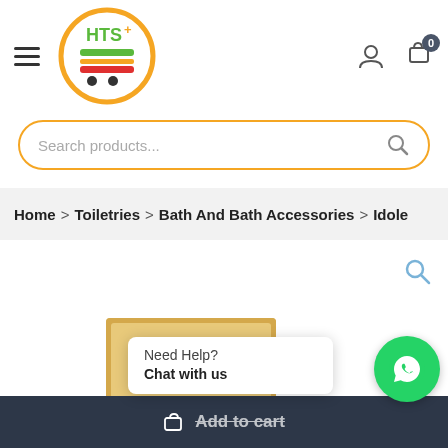[Figure (logo): HTS+ grocery delivery app logo — orange circle with HTS+ text and shopping cart icon with colored bars]
[Figure (screenshot): Search bar with orange rounded border and placeholder text 'Search products...' with magnifier icon]
Home > Toiletries > Bath And Bath Accessories > Idole
[Figure (photo): Product image partially visible — appears to be an IDOLE branded bath product in a beige/gold box]
Need Help?
Chat with us
Add to cart